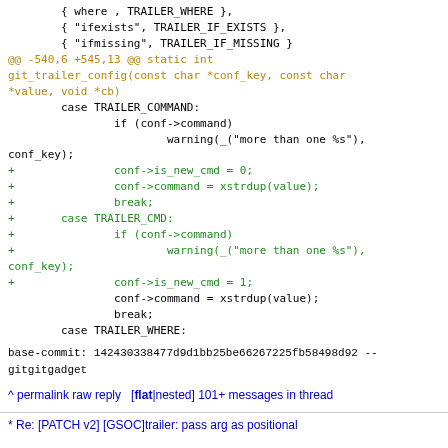{ where , TRAILER_WHERE },
        { "ifexists", TRAILER_IF_EXISTS },
        { "ifmissing", TRAILER_IF_MISSING }
@@ -540,6 +545,13 @@ static int git_trailer_config(const char *conf_key, const char *value, void *cb)
        case TRAILER_COMMAND:
                if (conf->command)
                        warning(_("more than one %s"), conf_key);
+               conf->is_new_cmd = 0;
+               conf->command = xstrdup(value);
+               break;
+       case TRAILER_CMD:
+               if (conf->command)
+                       warning(_("more than one %s"), conf_key);
+               conf->is_new_cmd = 1;
                conf->command = xstrdup(value);
                break;
        case TRAILER_WHERE:
base-commit: 142430338477d9d1bb25be66267225fb58498d92
--
gitgitgadget
^ permalink raw reply [flat|nested] 101+ messages in thread
* Re: [PATCH v2] [GSOC]trailer: pass arg as positional